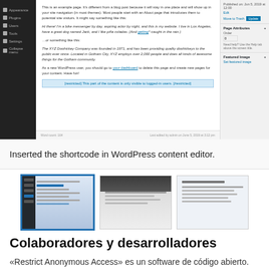[Figure (screenshot): WordPress admin content editor showing an About page with sample text content, sidebar navigation, and publish/page attributes panel on the right.]
Inserted the shortcode in WordPress content editor.
[Figure (screenshot): Three thumbnail screenshots showing different views of the plugin in action — WordPress admin editor view (selected/highlighted), and two page preview views.]
Colaboradores y desarrolladores
«Restrict Anonymous Access» es un software de código abierto. Las siguientes personas han colaborado con este plugin.